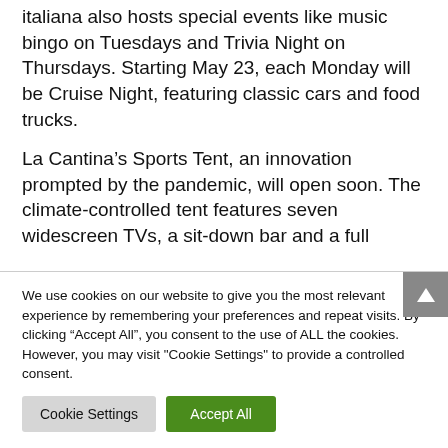Italiana also hosts special events like music bingo on Tuesdays and Trivia Night on Thursdays. Starting May 23, each Monday will be Cruise Night, featuring classic cars and food trucks.
La Cantina's Sports Tent, an innovation prompted by the pandemic, will open soon. The climate-controlled tent features seven widescreen TVs, a sit-down bar and a full
We use cookies on our website to give you the most relevant experience by remembering your preferences and repeat visits. By clicking “Accept All”, you consent to the use of ALL the cookies. However, you may visit "Cookie Settings" to provide a controlled consent.